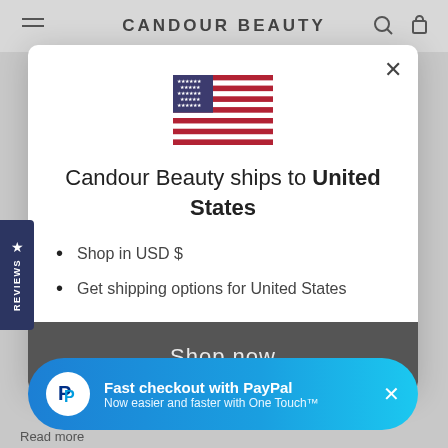CANDOUR BEAUTY
[Figure (screenshot): Modal dialog on Candour Beauty website showing US flag, shipping info, shop now button, and PayPal fast checkout banner]
Candour Beauty ships to United States
Shop in USD $
Get shipping options for United States
Shop now
Fast checkout with PayPal
Now easier and faster with One Touch™
Read more